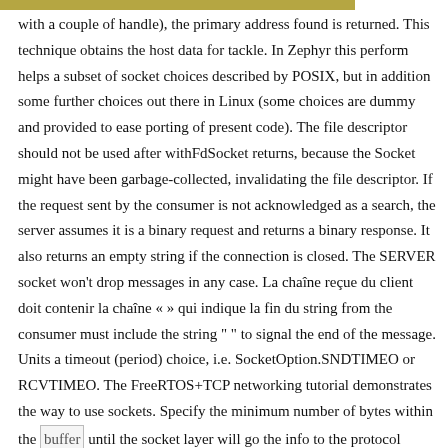with a couple of handle), the primary address found is returned. This technique obtains the host data for tackle. In Zephyr this perform helps a subset of socket choices described by POSIX, but in addition some further choices out there in Linux (some choices are dummy and provided to ease porting of present code). The file descriptor should not be used after withFdSocket returns, because the Socket might have been garbage-collected, invalidating the file descriptor. If the request sent by the consumer is not acknowledged as a search, the server assumes it is a binary request and returns a binary response. It also returns an empty string if the connection is closed. The SERVER socket won't drop messages in any case. La chaîne reçue du client doit contenir la chaîne « » qui indique la fin du string from the consumer must include the string " " to signal the end of the message. Units a timeout (period) choice, i.e. SocketOption.SNDTIMEO or RCVTIMEO. The FreeRTOS+TCP networking tutorial demonstrates the way to use sockets. Specify the minimum number of bytes within the buffer until the socket layer will go the info to the protocol (SO_SNDLOWAT) or